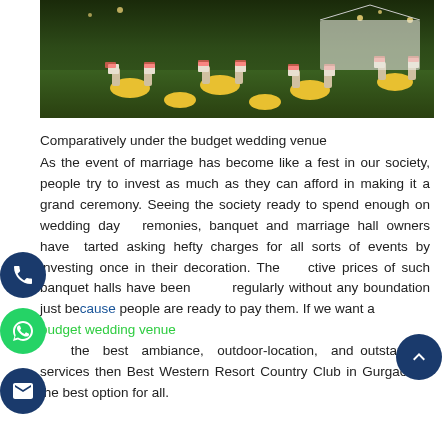[Figure (photo): Wedding venue outdoor setup with yellow chairs and floral-patterned chair covers arranged around round tables on a green lawn, photographed at night with decorative lighting]
Comparatively under the budget wedding venue
As the event of marriage has become like a fest in our society, people try to invest as much as they can afford in making it a grand ceremony. Seeing the society ready to spend enough on wedding day ceremonies, banquet and marriage hall owners have started asking hefty charges for all sorts of events by investing once in their decoration. The effective prices of such banquet halls have been rising regularly without any boundation just because people are ready to pay them. If we want a budget wedding venue with the best ambiance, outdoor-location, and outstanding services then Best Western Resort Country Club in Gurgaon is the best option for all.